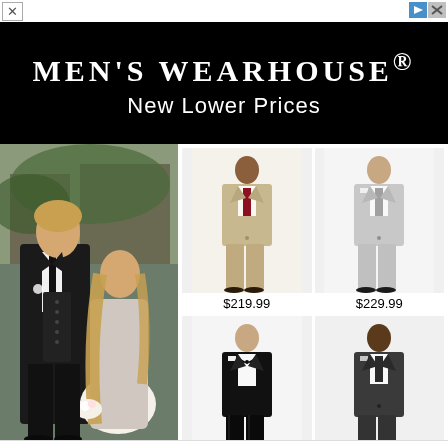[Figure (logo): Men's Wearhouse advertisement banner with black background, white serif text reading MEN'S WEARHOUSE® and subtitle New Lower Prices]
MEN'S WEARHOUSE®
New Lower Prices
[Figure (photo): Couple at a wedding; man in black tuxedo, woman in sparkly bridesmaid dress, outdoor setting]
[Figure (photo): Man in tan/beige suit with dark tie, full-body shot on white background, price $219.99]
$219.99
[Figure (photo): Man in light grey suit with grey tie, full-body shot on white background, price $229.99]
$229.99
[Figure (photo): Man in black tuxedo with bow tie, full-body shot on white background, price $209.99]
$209.99
[Figure (photo): Man in dark charcoal grey suit, full-body shot on white background, price $229.99]
$229.99
Search Here